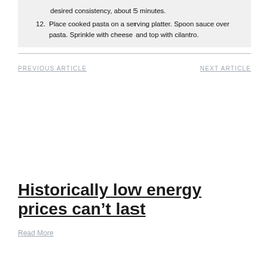desired consistency, about 5 minutes.
12. Place cooked pasta on a serving platter. Spoon sauce over pasta. Sprinkle with cheese and top with cilantro.
PREVIOUS ARTICLE
NEXT ARTICLE
Historically low energy prices can't last
Read More